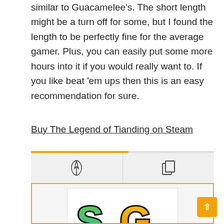similar to Guacamelee's. The short length might be a turn off for some, but I found the length to be perfectly fine for the average gamer. Plus, you can easily put some more hours into it if you would really want to. If you like beat 'em ups then this is an easy recommendation for sure.
Buy The Legend of Tianding on Steam
[Figure (logo): SG logo with stylized S in green-teal gradient and G in yellow-orange gradient, both with thick black outline, on a white background inside an orange-bordered card]